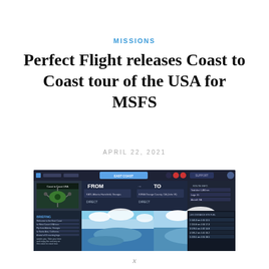MISSIONS
Perfect Flight releases Coast to Coast tour of the USA for MSFS
APRIL 22, 2021
[Figure (screenshot): Screenshot of Microsoft Flight Simulator interface showing a flight mission selection screen with FROM/TO fields, a drone/aircraft image on the left, aerial landscape photos in the center and right, and mission details panel.]
x